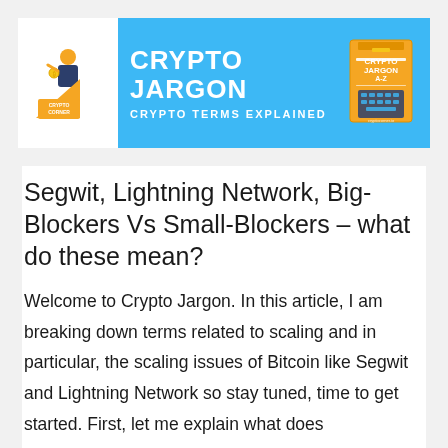[Figure (logo): Crypto Jargon banner with Crypto Corner logo on left, blue background with text 'CRYPTO JARGON' and 'CRYPTO TERMS EXPLAINED', and a book illustration on the right]
Segwit, Lightning Network, Big-Blockers Vs Small-Blockers – what do these mean?
Welcome to Crypto Jargon. In this article, I am breaking down terms related to scaling and in particular, the scaling issues of Bitcoin like Segwit and Lightning Network so stay tuned, time to get started. First, let me explain what does...